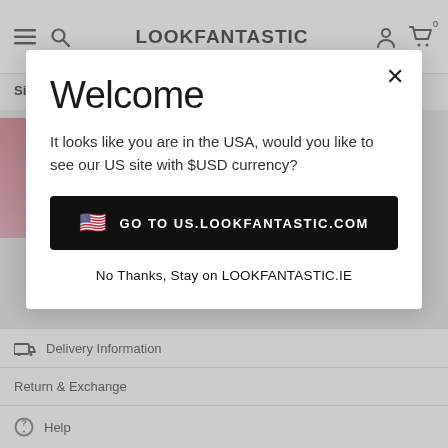LOOKFANTASTIC
Sign up to our emails for VIP offers and new product alerts
Welcome
It looks like you are in the USA, would you like to see our US site with $USD currency?
GO TO US.LOOKFANTASTIC.COM
No Thanks, Stay on LOOKFANTASTIC.IE
Delivery Information
Return & Exchange
Help